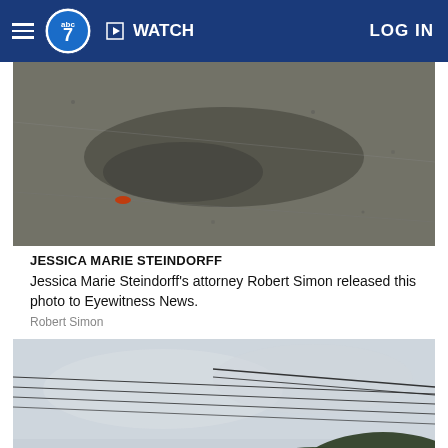WATCH   LOG IN
[Figure (photo): Aerial or close-up photo of dark asphalt/gravel road surface with a small orange object visible]
JESSICA MARIE STEINDORFF
Jessica Marie Steindorff's attorney Robert Simon released this photo to Eyewitness News.
Robert Simon
[Figure (photo): Photo of power lines against a cloudy sky with a dark hillside/mountain in the lower right]